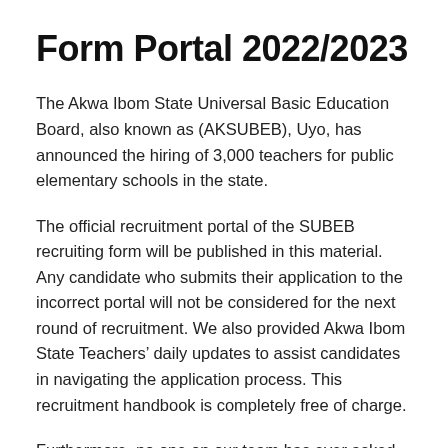Form Portal 2022/2023
The Akwa Ibom State Universal Basic Education Board, also known as (AKSUBEB), Uyo, has announced the hiring of 3,000 teachers for public elementary schools in the state.
The official recruitment portal of the SUBEB recruiting form will be published in this material. Any candidate who submits their application to the incorrect portal will not be considered for the next round of recruitment. We also provided Akwa Ibom State Teachers’ daily updates to assist candidates in navigating the application process. This recruitment handbook is completely free of charge.
Furthermore, no one on our team has ever asked any of our readers to help us get hired. Furthermore, we have no